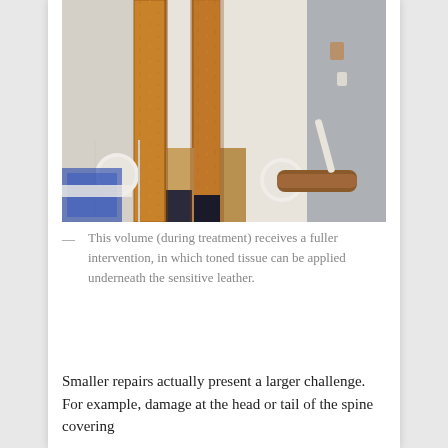[Figure (photo): Close-up photograph of wooden boards or book spine boards being held in clamps or a press, with white cylindrical rollers and a tool handle visible, taken during a bookbinding or conservation treatment.]
— This volume (during treatment) receives a fuller intervention, in which toned tissue can be applied underneath the sensitive leather.
Smaller repairs actually present a larger challenge.  For example, damage at the head or tail of the spine covering